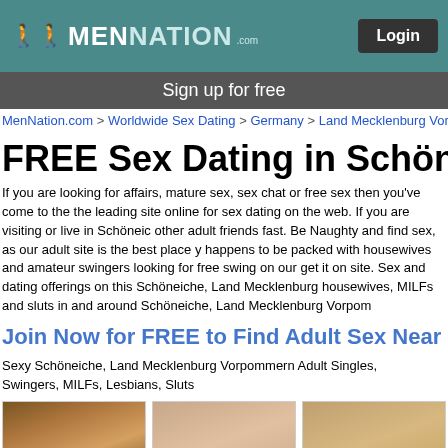MenNation Login
Sign up for free
MenNation.com > Worldwide Sex Dating > Germany > Land Mecklenburg Vorpom
FREE Sex Dating in Schöneiche
If you are looking for affairs, mature sex, sex chat or free sex then you've come to the leading site online for sex dating on the web. If you are visiting or live in Schöneic other adult friends fast. Be Naughty and find sex, as our adult site is the best place y happens to be packed with housewives and amateur swingers looking for free swing on our get it on site. Sex and dating offerings on this Schöneiche, Land Mecklenburg housewives, MILFs and sluts in and around Schöneiche, Land Mecklenburg Vorpom
Join Now for FREE to Find Adult Sex Near Sch
Sexy Schöneiche, Land Mecklenburg Vorpommern Adult Singles,
Swingers, MILFs, Lesbians, Sluts
[Figure (photo): Profile photo of jaycee70s]
[Figure (photo): Profile photo of shaq381]
[Figure (photo): Profile photo of XF1NATICX]